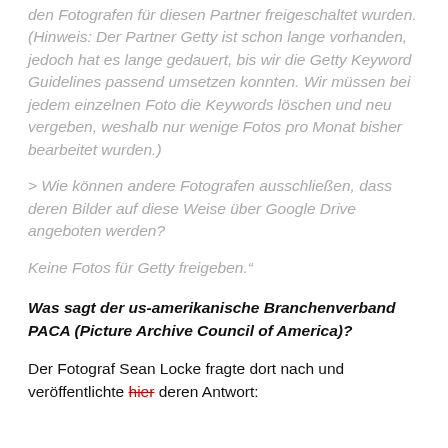den Fotografen für diesen Partner freigeschaltet wurden. (Hinweis: Der Partner Getty ist schon lange vorhanden, jedoch hat es lange gedauert, bis wir die Getty Keyword Guidelines passend umsetzen konnten. Wir müssen bei jedem einzelnen Foto die Keywords löschen und neu vergeben, weshalb nur wenige Fotos pro Monat bisher bearbeitet wurden.)
> Wie können andere Fotografen ausschließen, dass deren Bilder auf diese Weise über Google Drive angeboten werden?
Keine Fotos für Getty freigeben."
Was sagt der us-amerikanische Branchenverband PACA (Picture Archive Council of America)?
Der Fotograf Sean Locke fragte dort nach und veröffentlichte hier deren Antwort: